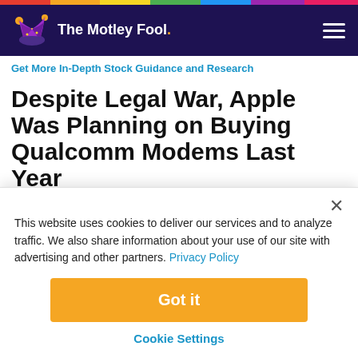The Motley Fool
Get More In-Depth Stock Guidance and Research
Despite Legal War, Apple Was Planning on Buying Qualcomm Modems Last Year
This website uses cookies to deliver our services and to analyze traffic. We also share information about your use of our site with advertising and other partners. Privacy Policy
Got it
Cookie Settings